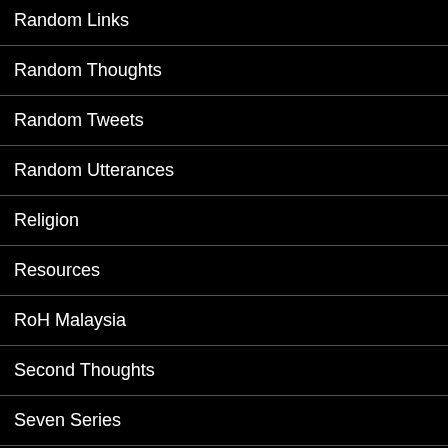Random Links
Random Thoughts
Random Tweets
Random Utterances
Religion
Resources
RoH Malaysia
Second Thoughts
Seven Series
Simple Steps